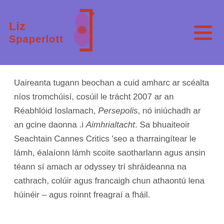Liz Spaperlott
Uaireanta tugann beochan a cuid amharc ar scéalta níos tromchúisí, cosúil le trácht 2007 ar an Réabhlóid Ioslamach, Persepolis, nó iniúchadh ar an gcine daonna .i Aimhrialtacht. Sa bhuaiteoir Seachtain Cannes Critics 'seo a tharraingítear le lámh, éalaíonn lámh scoite saotharlann agus ansin téann sí amach ar odyssey trí shráideanna na cathrach, colúir agus francaigh chun athaontú lena húinéir – agus roinnt freagraí a fháil.